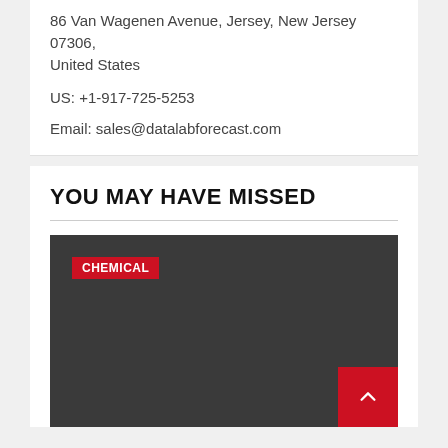86 Van Wagenen Avenue, Jersey, New Jersey 07306, United States
US: +1-917-725-5253
Email: sales@datalabforecast.com
YOU MAY HAVE MISSED
[Figure (photo): Dark grey image block with a red 'CHEMICAL' badge label in the top-left corner and a red scroll-to-top button in the bottom-right corner.]